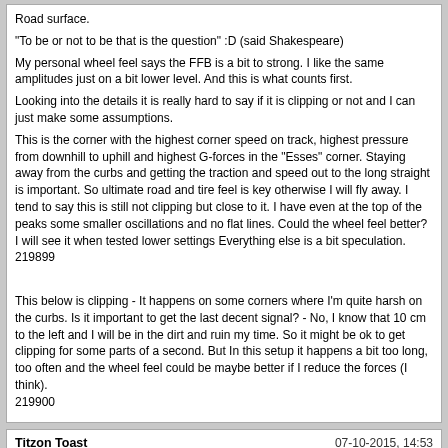Road surface.
"To be or not to be that is the question" :D (said Shakespeare)
My personal wheel feel says the FFB is a bit to strong. I like the same amplitudes just on a bit lower level. And this is what counts first.
Looking into the details it is really hard to say if it is clipping or not and I can just make some assumptions.
This is the corner with the highest corner speed on track, highest pressure from downhill to uphill and highest G-forces in the "Esses" corner. Staying away from the curbs and getting the traction and speed out to the long straight is important. So ultimate road and tire feel is key otherwise I will fly away. I tend to say this is still not clipping but close to it. I have even at the top of the peaks some smaller oscillations and no flat lines. Could the wheel feel better? I will see it when tested lower settings Everything else is a bit speculation.
219899
This below is clipping - It happens on some corners where I'm quite harsh on the curbs. Is it important to get the last decent signal? - No, I know that 10 cm to the left and I will be in the dirt and ruin my time. So it might be ok to get clipping for some parts of a second. But In this setup it happens a bit too long, too often and the wheel feel could be maybe better if I reduce the forces (I think).
219900
Titzon Toast
07-10-2015, 14:53
@ Gruzzlebeard
I'll post some settings for you to try later on if you'd like?
gruzzlebeard
07-10-2015, 15:10
Yes you are right, but why SMS did make the calibration menu only available